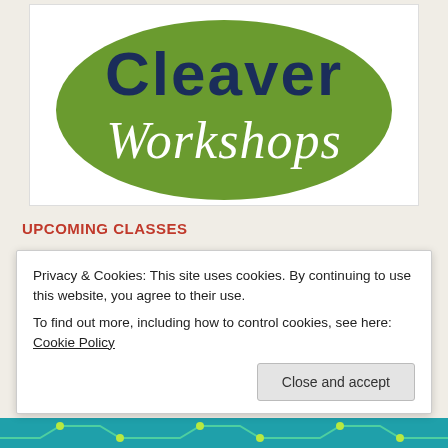[Figure (logo): Cleaver Workshops logo: green circle with dark navy text 'Cleaver' and white italic script 'Workshops']
UPCOMING CLASSES
[Figure (map): Teal/blue map background with a red location pin marker]
Privacy & Cookies: This site uses cookies. By continuing to use this website, you agree to their use.
To find out more, including how to control cookies, see here: Cookie Policy
Close and accept
[Figure (illustration): Teal strip at the bottom with green circuit board lines and dots]